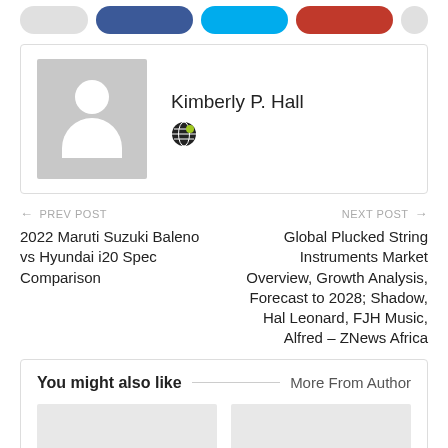[Figure (other): Social sharing buttons row: gray, blue (Facebook), cyan (Twitter), red button, and circle icon]
Kimberly P. Hall
[Figure (illustration): Author avatar placeholder with silhouette figure on gray background, and globe icon]
← PREV POST
2022 Maruti Suzuki Baleno vs Hyundai i20 Spec Comparison
NEXT POST →
Global Plucked String Instruments Market Overview, Growth Analysis, Forecast to 2028; Shadow, Hal Leonard, FJH Music, Alfred – ZNews Africa
You might also like
More From Author